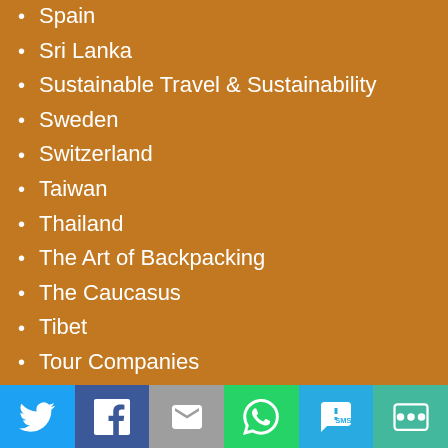Spain
Sri Lanka
Sustainable Travel & Sustainability
Sweden
Switzerland
Taiwan
Thailand
The Art of Backpacking
The Caucasus
Tibet
Tour Companies
Trains
Transnistria
Transportation
Travel Health Insurance
Travel Tools & Resources